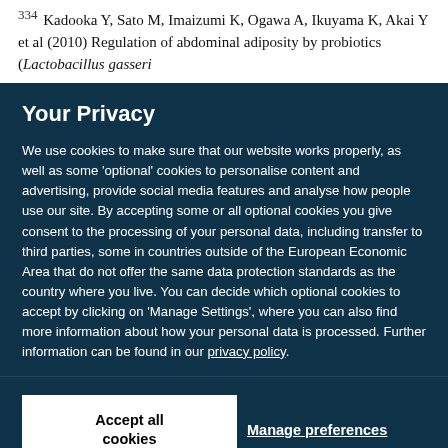Kadooka Y, Sato M, Imaizumi K, Ogawa A, Ikuyama K, Akai Y et al (2010) Regulation of abdominal adiposity by probiotics (Lactobacillus gasseri
Your Privacy
We use cookies to make sure that our website works properly, as well as some 'optional' cookies to personalise content and advertising, provide social media features and analyse how people use our site. By accepting some or all optional cookies you give consent to the processing of your personal data, including transfer to third parties, some in countries outside of the European Economic Area that do not offer the same data protection standards as the country where you live. You can decide which optional cookies to accept by clicking on 'Manage Settings', where you can also find more information about how your personal data is processed. Further information can be found in our privacy policy.
Accept all cookies
Manage preferences